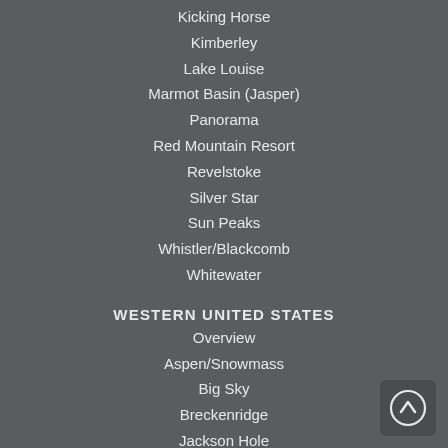Kicking Horse
Kimberley
Lake Louise
Marmot Basin (Jasper)
Panorama
Red Mountain Resort
Revelstoke
Silver Star
Sun Peaks
Whistler/Blackcomb
Whitewater
WESTERN UNITED STATES
Overview
Aspen/Snowmass
Big Sky
Breckenridge
Jackson Hole
Park City
Pallisades Tahoe
Steamboat